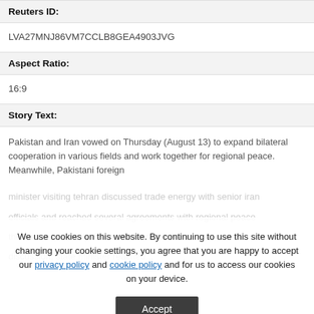Reuters ID:
LVA27MNJ86VM7CCLB8GEA4903JVG
Aspect Ratio:
16:9
Story Text:
Pakistan and Iran vowed on Thursday (August 13) to expand bilateral cooperation in various fields and work together for regional peace. Meanwhile, Pakistani foreign
We use cookies on this website. By continuing to use this site without changing your cookie settings, you agree that you are happy to accept our privacy policy and cookie policy and for us to access our cookies on your device.